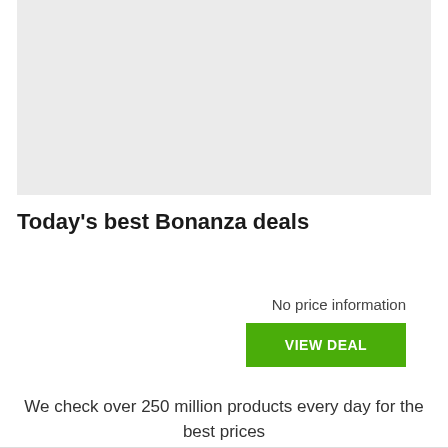[Figure (other): Grey placeholder image box]
Today's best Bonanza deals
No price information
VIEW DEAL
We check over 250 million products every day for the best prices